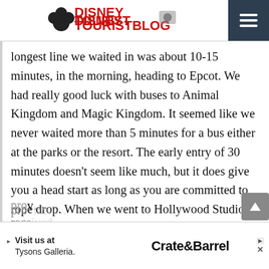DisneyTouristBlog
longest line we waited in was about 10-15 minutes, in the morning, heading to Epcot. We had really good luck with buses to Animal Kingdom and Magic Kingdom. It seemed like we never waited more than 5 minutes for a bus either at the parks or the resort. The early entry of 30 minutes doesn't seem like much, but it does give you a head start as long as you are committed to rope drop. When we went to Hollywood Studios, we were able to ride Slinky Dog (twice!) and Toy Story Mania before the park started to get crowded. The pool area and food court exceeded expectations. Staff are as friendly and helpful as ever. We knew housekeeping would be scaled back, and it really wasn't an issue for us. Every other day, you're provided... received...
[Figure (other): Advertisement banner: Crate & Barrel - Visit us at Tysons Galleria.]